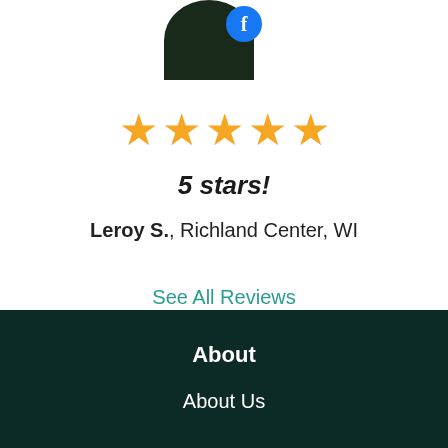[Figure (photo): Partial profile photo circle with Facebook badge icon overlay]
[Figure (other): Five golden star rating icons]
5 stars!
Leroy S., Richland Center, WI
See All Reviews
About
About Us